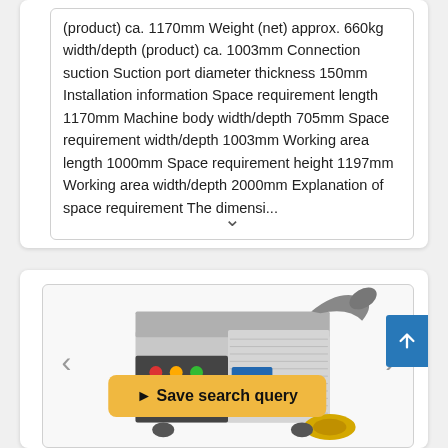(product) ca. 1170mm Weight (net) approx. 660kg width/depth (product) ca. 1003mm Connection suction Suction port diameter thickness 150mm Installation information Space requirement length 1170mm Machine body width/depth 705mm Space requirement width/depth 1003mm Working area length 1000mm Space requirement height 1197mm Working area width/depth 2000mm Explanation of space requirement The dimensi...
[Figure (photo): Industrial machine (appears to be a woodworking or metalworking machine) shown in 3D perspective view, with control panel on front and dust extraction port on top. Navigation arrows on left and right sides. Save search query button overlaid at bottom.]